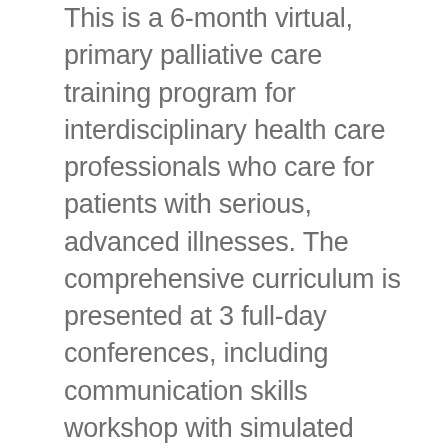This is a 6-month virtual, primary palliative care training program for interdisciplinary health care professionals who care for patients with serious, advanced illnesses. The comprehensive curriculum is presented at 3 full-day conferences, including communication skills workshop with simulated patients, at hour-long mentored learning community sessions, weekly webinars, and half-day seminars for social workers and chaplains. The September conference will be held in person at the Morton Arboretum in Lisle, IL and offered virtually. Sessions are recorded for asynchronous learning. An